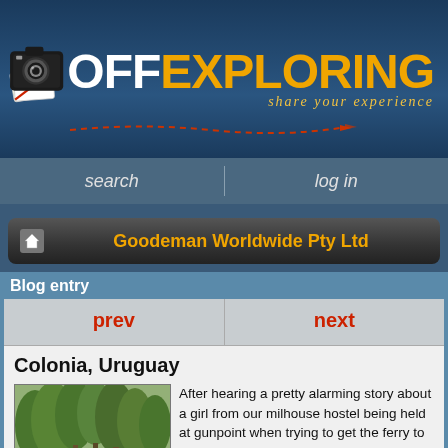[Figure (logo): OffExploring logo with camera icon, text OFF in white and EXPLORING in orange/gold, tagline 'share your experience' in italic gold]
search   log in
Goodeman Worldwide Pty Ltd
Blog entry
prev
next
Colonia, Uruguay
[Figure (photo): Street scene in Colonia, Uruguay, with large shady trees lining a street, buildings visible in background]
After hearing a pretty alarming story about a girl from our milhouse hostel being held at gunpoint when trying to get the ferry to Uruguay we made sure we were pretty switched on for the trip. She was robbed of everything ; back pack, passport, wallet, camera , everything but the close on her back scary s***!